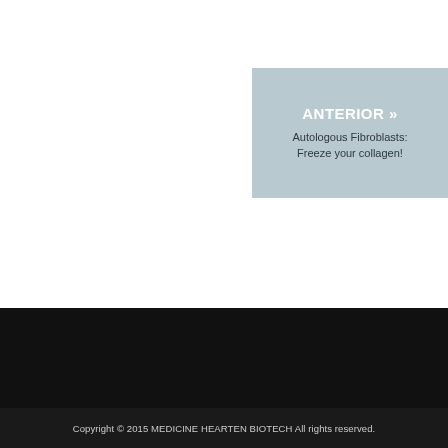[Figure (infographic): Light blue/grey card with bold white heading 'ANTERIOR »' and subtitle 'Autologous Fibroblasts: Freeze your collagen!']
Copyright © 2015 MEDICINE HEARTEN BIOTECH All rights reserved.